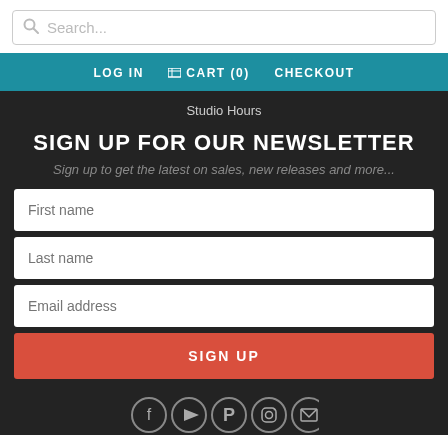Search...
LOG IN  CART (0)  CHECKOUT
Studio Hours
SIGN UP FOR OUR NEWSLETTER
Sign up to get the latest on sales, new releases and more...
First name
Last name
Email address
SIGN UP
[Figure (infographic): Social media icons in circles: Facebook, YouTube, Pinterest, Instagram, Email]